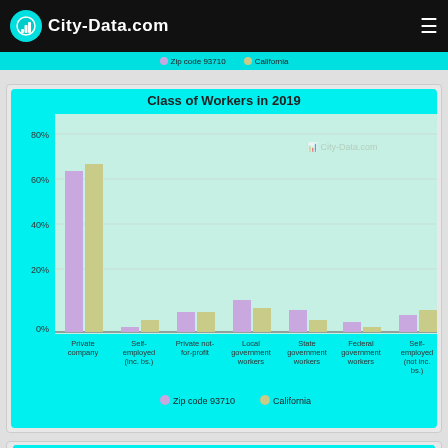City-Data.com
[Figure (grouped-bar-chart): Class of Workers in 2019]
Occupation by median earnings in the past 12 months